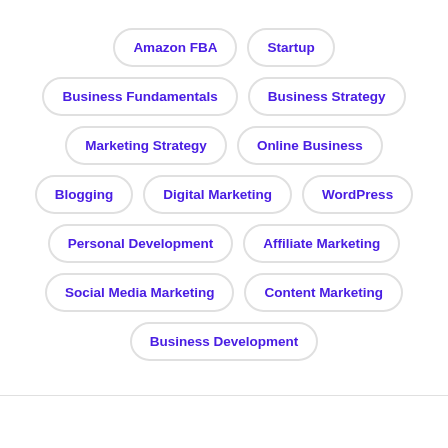Amazon FBA
Startup
Business Fundamentals
Business Strategy
Marketing Strategy
Online Business
Blogging
Digital Marketing
WordPress
Personal Development
Affiliate Marketing
Social Media Marketing
Content Marketing
Business Development